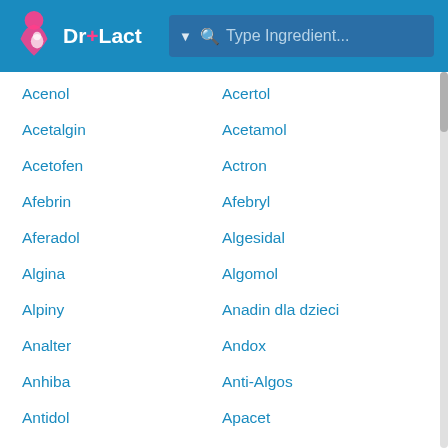Dr+Lact — Type Ingredient...
Acenol
Acertol
Acetalgin
Acetamol
Acetofen
Actron
Afebrin
Afebryl
Aferadol
Algesidal
Algina
Algomol
Alpiny
Anadin dla dzieci
Analter
Andox
Anhiba
Anti-Algos
Antidol
Apacet
A-Per
Apitrelal
Arfen
Asetam
Asomal
Aspac